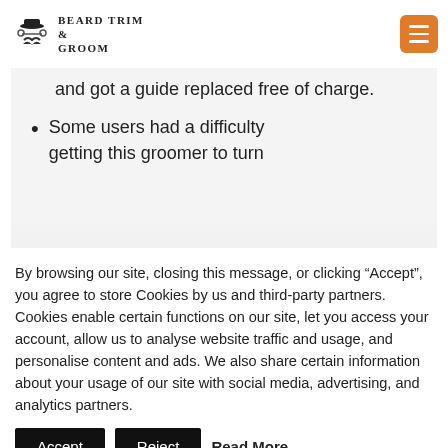Beard Trim & Groom
and got a guide replaced free of charge.
Some users had a difficulty getting this groomer to turn
By browsing our site, closing this message, or clicking “Accept”, you agree to store Cookies by us and third-party partners. Cookies enable certain functions on our site, let you access your account, allow us to analyse website traffic and usage, and personalise content and ads. We also share certain information about your usage of our site with social media, advertising, and analytics partners.
Accept | Reject | Read More